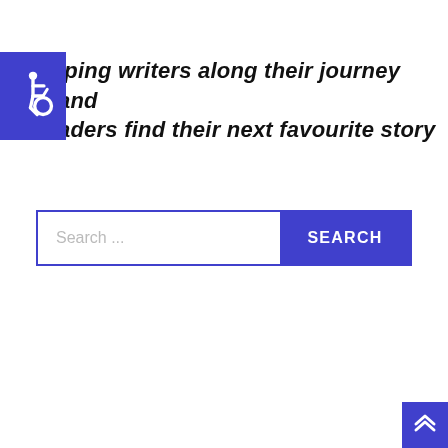[Figure (logo): Blue square accessibility icon with wheelchair symbol in white]
lping writers along their journey and aders find their next favourite story
Search ...
[Figure (other): Blue back-to-top button with double chevron up arrow in bottom right corner]